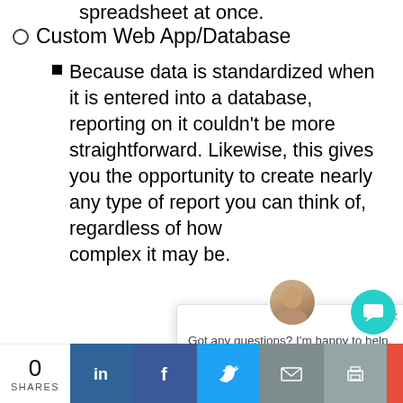spreadsheet at once.
Custom Web App/Database
Because data is standardized when it is entered into a database, reporting on it couldn't be more straightforward. Likewise, this gives you the opportunity to create nearly any type of report you can think of, regardless of how complex it may be.
[Figure (photo): Technology/data dashboard image, partially visible at bottom of page]
Got any questions? I'm happy to help. Tell me about your current IT problem.
0 SHARES | LinkedIn | Facebook | Twitter | Email | Print